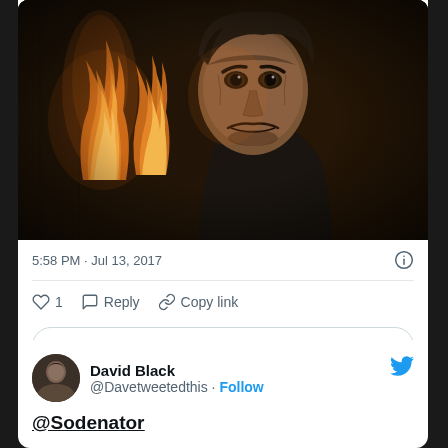[Figure (screenshot): Movie/film screenshot showing a menacing man with disheveled hair crouching forward with an intense expression, with flames visible in the background on the left side. Dark, moody cinematic lighting.]
5:58 PM · Jul 13, 2017
1  Reply  Copy link
Explore what's happening on Twitter
David Black
@Davetweetedthis · Follow
@Sodenator